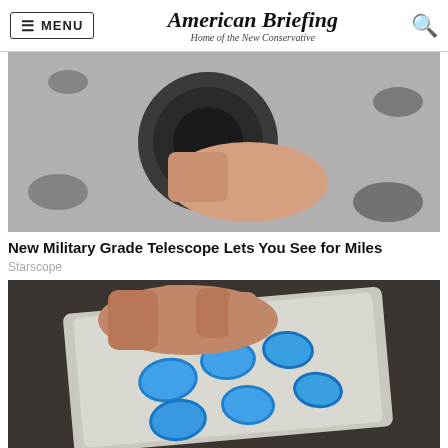MENU | American Briefing — Home of the New Conservative
[Figure (photo): Close-up photo of a hand holding a military-grade telescope/monocular against a camouflage background]
New Military Grade Telescope Lets You See for Miles
Starscope
[Figure (photo): Photo of a hand holding blister packs of blue diamond-shaped pills on a dark surface]